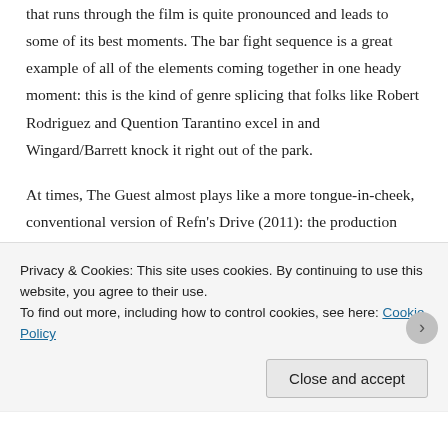that runs through the film is quite pronounced and leads to some of its best moments. The bar fight sequence is a great example of all of the elements coming together in one heady moment: this is the kind of genre splicing that folks like Robert Rodriguez and Quention Tarantino excel in and Wingard/Barrett knock it right out of the park.
At times, The Guest almost plays like a more tongue-in-cheek, conventional version of Refn's Drive (2011): the production values are high, the John Carpenter-influenced electro-score (courtesy of Steve Moore) is utterly fantastic and the whole thing is stylish almost to a fault (the finale, in particular, is an absolute
Privacy & Cookies: This site uses cookies. By continuing to use this website, you agree to their use.
To find out more, including how to control cookies, see here: Cookie Policy